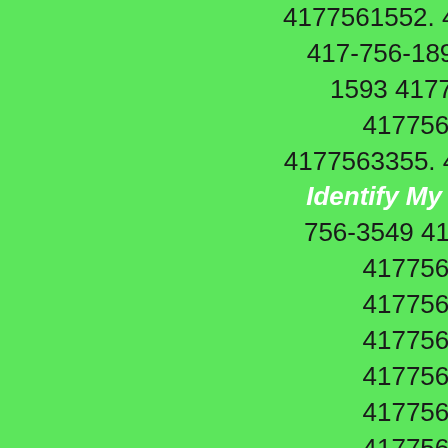4177561552. 417-756-1170 4177561170. 417-756-1891 4177561891. 417-756-1593 4177561593. 417-756-9175 4177569175. 417-756-3355 4177563355. 417-756-0709 Caller Name Identify My Caller 4177560709. 417-756-3549 4177563549. 417-756-5524 4177565524. 417-756-7840 4177567840. 417-756-7928 4177567928. 417-756-8367 4177568367. 417-756-6157 4177566157. 417-756-6445 4177566445. 417-756-9015 4177569015. 417-756-1008 4177561008. 417-756-8246 4177568246. 417-756-8894 4177568894. 417-756-7934 4177567934. 417-756-1703 4177561703. 417-756-9208 4177569208. 417-756-0841 Caller Name Identify My Caller 4177560841. 417-756-3488 4177563488. 417-756-3363 4177563363. 417-756-3033 4177563033. 417-756-9275 4177569275. 417-756-2011 4177562011. 417-756-5402 4177565402. 417-756